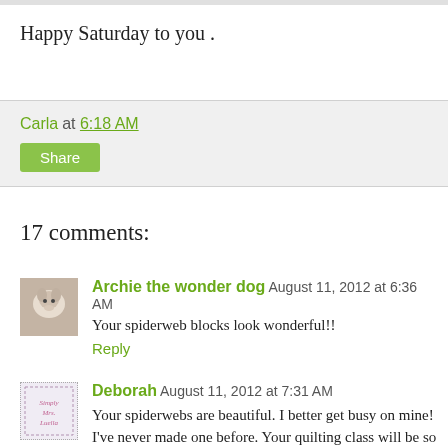Happy Saturday to you .
Carla at 6:18 AM
Share
17 comments:
Archie the wonder dog  August 11, 2012 at 6:36 AM
Your spiderweb blocks look wonderful!!
Reply
Deborah  August 11, 2012 at 7:31 AM
Your spiderwebs are beautiful. I better get busy on mine! I've never made one before. Your quilting class will be so